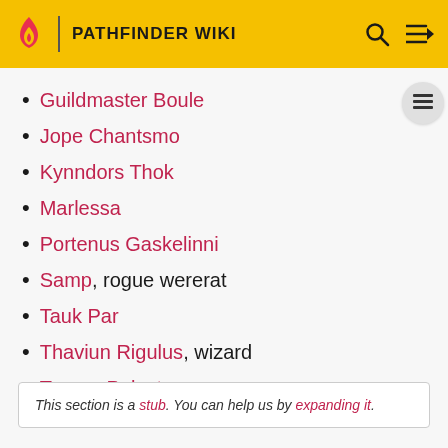PATHFINDER WIKI
Guildmaster Boule
Jope Chantsmo
Kynndors Thok
Marlessa
Portenus Gaskelinni
Samp, rogue wererat
Tauk Par
Thaviun Rigulus, wizard
Touran Palastus
This section is a stub. You can help us by expanding it.